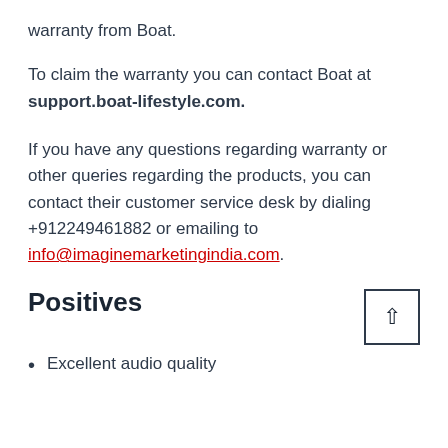warranty from Boat.
To claim the warranty you can contact Boat at support.boat-lifestyle.com.
If you have any questions regarding warranty or other queries regarding the products, you can contact their customer service desk by dialing +912249461882 or emailing to info@imaginemarketingindia.com.
Positives
Excellent audio quality